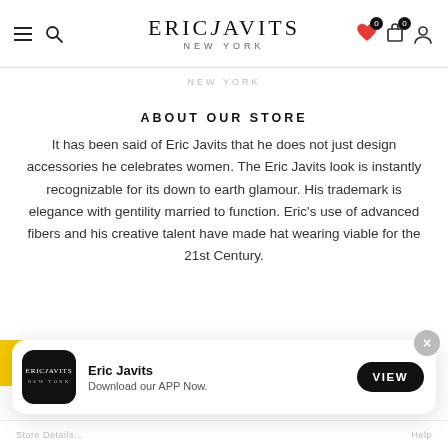ERIC JAVITS NEW YORK
ABOUT OUR STORE
It has been said of Eric Javits that he does not just design accessories he celebrates women. The Eric Javits look is instantly recognizable for its down to earth glamour. His trademark is elegance with gentility married to function. Eric's use of advanced fibers and his creative talent have made hat wearing viable for the 21st Century.
[Figure (screenshot): App install banner with Eric Javits logo, 'Eric Javits Download our APP Now.' text, and a VIEW button]
Store Details · Help